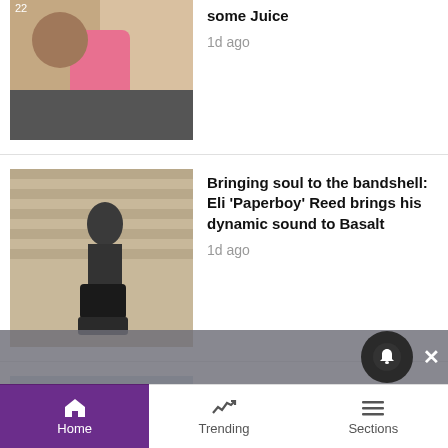[Figure (photo): Person with colorful items, pink object visible]
some Juice
1d ago
[Figure (photo): Person crouching with guitar case against brick wall]
Bringing soul to the bandshell: Eli 'Paperboy' Reed brings his dynamic sound to Basalt
1d ago
[Figure (photo): Smiling older man outdoors]
Vagneur: Celebrating the Italians of the Roaring Fork Valley
5h ago
[Figure (photo): Two people sitting at a colorful outdoor table]
Locally based book explores AI, ancient wisdom, climate challenges, healing and more
1d ago